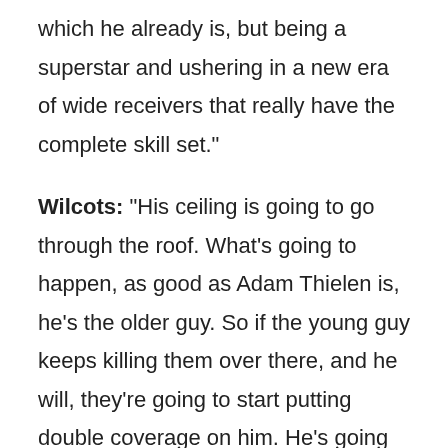which he already is, but being a superstar and ushering in a new era of wide receivers that really have the complete skill set."
Wilcots: "His ceiling is going to go through the roof. What's going to happen, as good as Adam Thielen is, he's the older guy. So if the young guy keeps killing them over there, and he will, they're going to start putting double coverage on him. He's going to start to draw more double coverage, and you have to learn to win. But I can't speak enough about his football IQ and his experience playing in a pro-style offense in